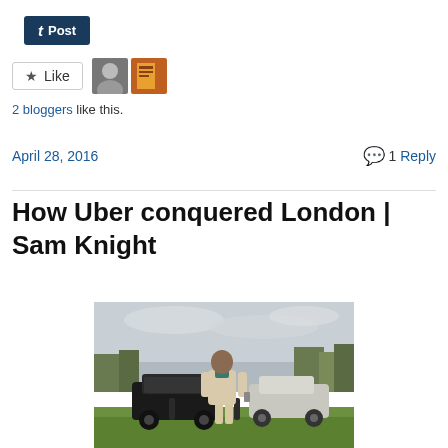[Figure (other): Tumblr 't Post' button in dark navy blue]
[Figure (other): Like button with star icon and two blogger avatars]
2 bloggers like this.
April 28, 2016
1 Reply
How Uber conquered London | Sam Knight
[Figure (photo): Man standing in a parking lot with cars behind him and grass in foreground, overcast sky]